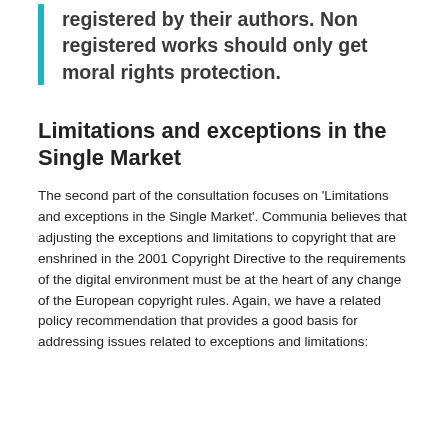registered by their authors. Non registered works should only get moral rights protection.
Limitations and exceptions in the Single Market
The second part of the consultation focuses on 'Limitations and exceptions in the Single Market'. Communia believes that adjusting the exceptions and limitations to copyright that are enshrined in the 2001 Copyright Directive to the requirements of the digital environment must be at the heart of any change of the European copyright rules. Again, we have a related policy recommendation that provides a good basis for addressing issues related to exceptions and limitations: